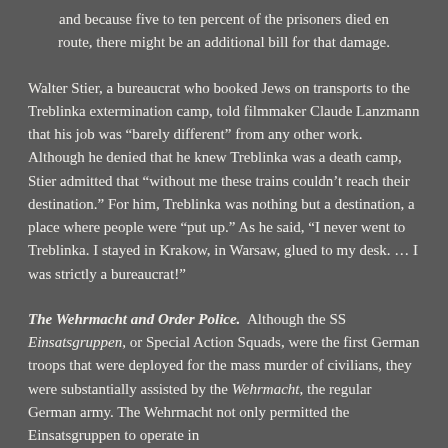and because five to ten percent of the prisoners died en route, there might be an additional bill for that damage.
Walter Stier, a bureaucrat who booked Jews on transports to the Treblinka extermination camp, told filmmaker Claude Lanzmann that his job was "barely different" from any other work. Although he denied that he knew Treblinka was a death camp, Stier admitted that "without me these trains couldn't reach their destination." For him, Treblinka was nothing but a destination, a place where people were "put up." As he said, "I never went to Treblinka. I stayed in Krakow, in Warsaw, glued to my desk. ... I was strictly a bureaucrat!"
The Wehrmacht and Order Police. Although the SS Einsatsgruppen, or Special Action Squads, were the first German troops that were deployed for the mass murder of civilians, they were substantially assisted by the Wehrmacht, the regular German army. The Wehrmacht not only permitted the Einsatsgruppen to operate in